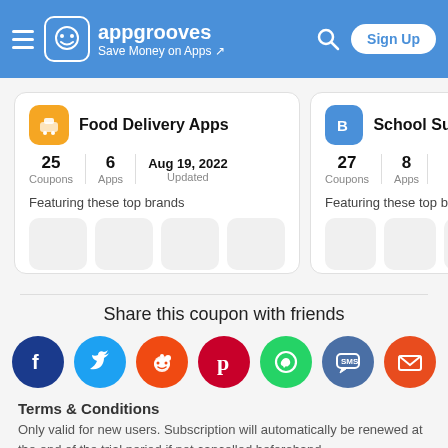appgrooves — Save Money on Apps | Sign Up
[Figure (screenshot): Food Delivery Apps card: 25 Coupons, 6 Apps, Aug 19, 2022 Updated. Featuring these top brands (4 placeholder brand boxes).]
[Figure (screenshot): School Supply Apps card (partially visible): 27 Coupons, 8 Apps. Featuring these top brands (partially visible brand boxes).]
Share this coupon with friends
[Figure (infographic): Social share icons: Facebook, Twitter, Reddit, Pinterest, WhatsApp, SMS, Email]
Terms & Conditions
Only valid for new users. Subscription will automatically be renewed at the end of the trial period if not cancelled beforehand.